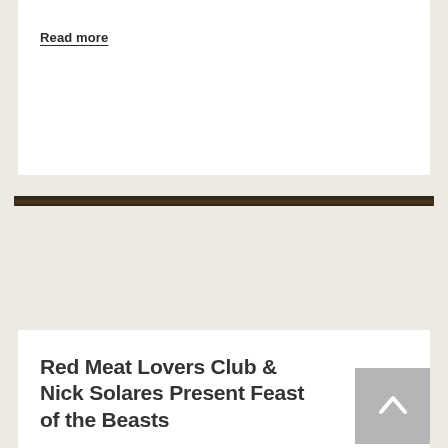Read more
Red Meat Lovers Club & Nick Solares Present Feast of the Beasts